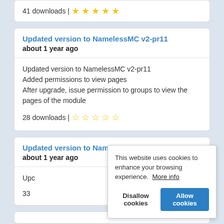41 downloads | ★★★★★
Updated version to NamelessMC v2-pr11
about 1 year ago

Updated version to NamelessMC v2-pr11
Added permissions to view pages
After upgrade, issue permission to groups to view the pages of the module

28 downloads | ☆☆☆☆☆
Updated version to NamelessMC v2-pr10
about 1 year ago

Upc

33
This website uses cookies to enhance your browsing experience.  More info

Disallow cookies   Allow cookies